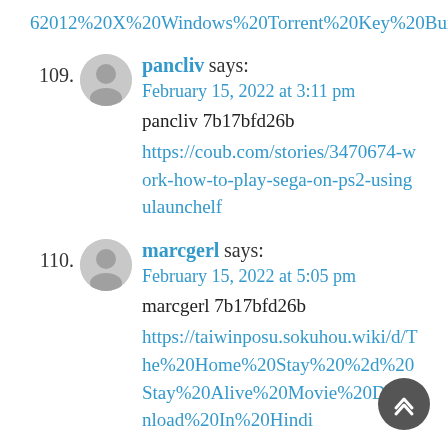62012%20X%20Windows%20Torrent%20Key%20Build%20BEST
109. pancliv says: February 15, 2022 at 3:11 pm
pancliv 7b17bfd26b
https://coub.com/stories/3470674-work-how-to-play-sega-on-ps2-usingulaunchelf
110. marcgerl says: February 15, 2022 at 5:05 pm
marcgerl 7b17bfd26b
https://taiwinposu.sokuhou.wiki/d/The%20Home%20Stay%20%2d%20Stay%20Alive%20Movie%20Download%20In%20Hindi